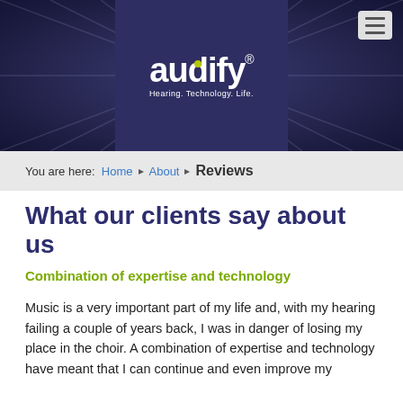[Figure (logo): Audify logo with tagline 'Hearing. Technology. Life.' on dark navy purple background with radial rays]
You are here: Home ▸ About ▸ Reviews
What our clients say about us
Combination of expertise and technology
Music is a very important part of my life and, with my hearing failing a couple of years back, I was in danger of losing my place in the choir. A combination of expertise and technology have meant that I can continue and even improve my